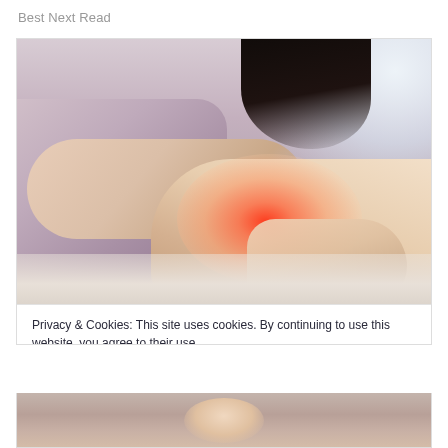Best Next Read
[Figure (photo): Woman in light purple/lavender clothing holding her knee/leg area which is highlighted in red to indicate pain or inflammation. Dark hair visible at top. She is seated and appears to be in pain.]
Privacy & Cookies: This site uses cookies. By continuing to use this website, you agree to their use.
To find out more, including how to control cookies, see here: Cookie Policy
Close and accept
[Figure (photo): Partial view of another image at the bottom of the page (cropped).]